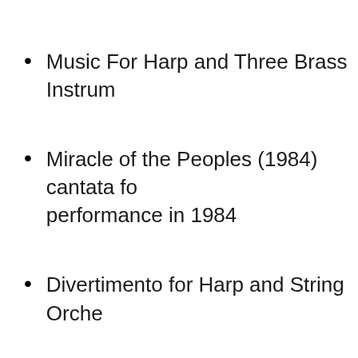Music For Harp and Three Brass Instruments
Miracle of the Peoples (1984) cantata for performance in 1984
Divertimento for Harp and String Orchestra
Divertimento for Harp, Flute and Strings